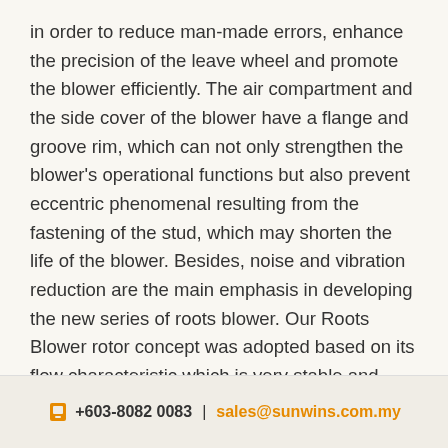in order to reduce man-made errors, enhance the precision of the leave wheel and promote the blower efficiently. The air compartment and the side cover of the blower have a flange and groove rim, which can not only strengthen the blower's operational functions but also prevent eccentric phenomenal resulting from the fastening of the stud, which may shorten the life of the blower. Besides, noise and vibration reduction are the main emphasis in developing the new series of roots blower. Our Roots Blower rotor concept was adopted based on its flow characteristic which is very stable and even compared to the 2 lobes type, also coupled with the fact that it shows a considerable reduction of both noise and
+603-8082 0083 | sales@sunwins.com.my